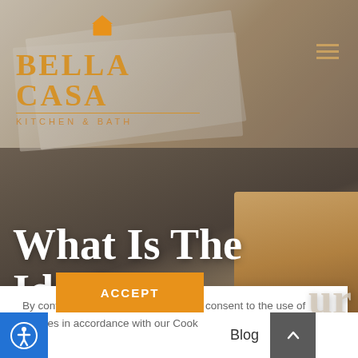[Figure (screenshot): Bella Casa Kitchen & Bath website screenshot showing hero image with marble and wood cabinet samples in the background, navigation bar with logo, and a cookie consent overlay popup.]
What Is The Ideal
By continuing to use this website, you consent to the use of cookies in accordance with our Cookie Policy.
ACCEPT
Blog